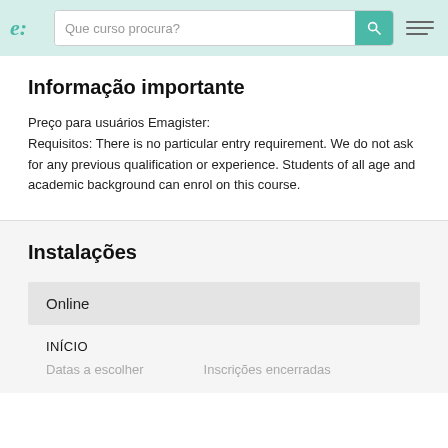Que curso procura?
Informação importante
Preço para usuários Emagister:
Requisitos: There is no particular entry requirement. We do not ask for any previous qualification or experience. Students of all age and academic background can enrol on this course.
Instalações
Online
INÍCIO
Datas a escolher    Inscrições encerradas